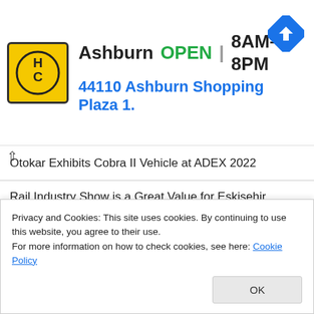[Figure (advertisement): HC logo banner ad for Ashburn location showing OPEN 8AM-8PM and address 44110 Ashburn Shopping Plaza 1. with navigation icon]
Otokar Exhibits Cobra II Vehicle at ADEX 2022
Rail Industry Show is a Great Value for Eskişehir
Uninterrupted Journey Started on Ankara Metro Batıkent Sincan Line
Kayseri Rail System Line Length Will Reach 48 Kilometers
Konya Gastrofest Hosted 4 Thousand Taste Enthusiasts in 550
Privacy and Cookies: This site uses cookies. By continuing to use this website, you agree to their use. For more information on how to check cookies, see here: Cookie Policy